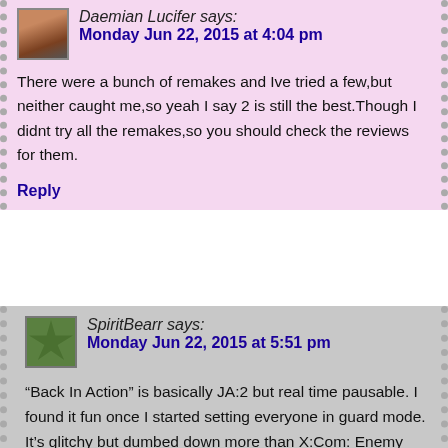Daemian Lucifer says:
Monday Jun 22, 2015 at 4:04 pm
There were a bunch of remakes and Ive tried a few,but neither caught me,so yeah I say 2 is still the best.Though I didnt try all the remakes,so you should check the reviews for them.
Reply
SpiritBearr says:
Monday Jun 22, 2015 at 5:51 pm
“Back In Action” is basically JA:2 but real time pausable. I found it fun once I started setting everyone in guard mode. It’s glitchy but dumbed down more than X:Com: Enemy Unknown was. It was fun once you get going though.
“Flashback” is turn based but a failure.